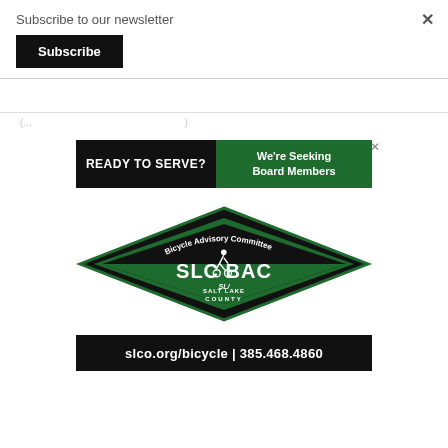Subscribe to our newsletter
Subscribe
[Figure (logo): SLC BAC - Salt Lake County Bicycle Advisory Committee diamond-shaped logo with green and black colors, cyclist silhouette, text 'Bicycle Advisory Committee SLC BAC Salt Lake County']
[Figure (infographic): Ad banner: black left side reads 'READY TO SERVE?' and green right side reads 'We're Seeking Board Members' with close X button]
slco.org/bicycle | 385.468.4860